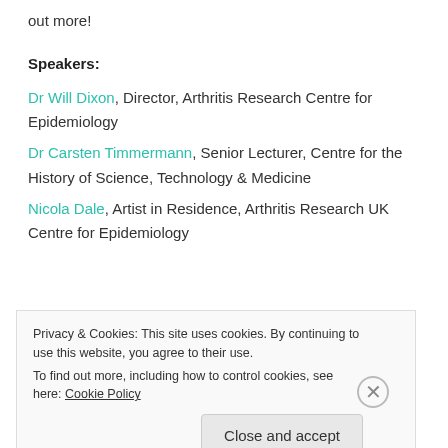out more!
Speakers:
Dr Will Dixon, Director, Arthritis Research Centre for Epidemiology
Dr Carsten Timmermann, Senior Lecturer, Centre for the History of Science, Technology & Medicine
Nicola Dale, Artist in Residence, Arthritis Research UK Centre for Epidemiology
[Figure (illustration): Gradient bar fading from blue-purple to pink-purple]
Privacy & Cookies: This site uses cookies. By continuing to use this website, you agree to their use. To find out more, including how to control cookies, see here: Cookie Policy
Close and accept